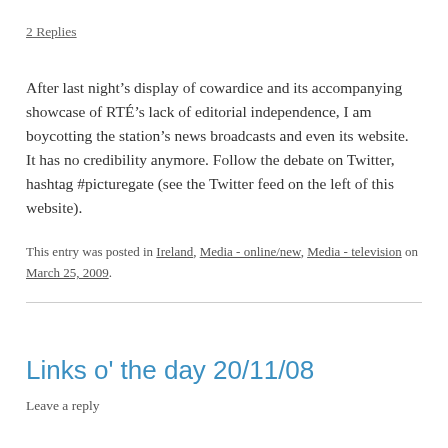2 Replies
After last night’s display of cowardice and its accompanying showcase of RTÉ’s lack of editorial independence, I am boycotting the station’s news broadcasts and even its website. It has no credibility anymore. Follow the debate on Twitter, hashtag #picturegate (see the Twitter feed on the left of this website).
This entry was posted in Ireland, Media - online/new, Media - television on March 25, 2009.
Links o' the day 20/11/08
Leave a reply